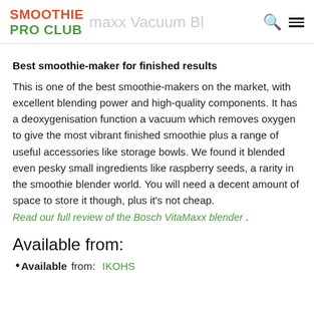SMOOTHIE PRO CLUB | [search icon] [menu icon]
Best smoothie-maker for finished results
This is one of the best smoothie-makers on the market, with excellent blending power and high-quality components. It has a deoxygenisation function a vacuum which removes oxygen to give the most vibrant finished smoothie plus a range of useful accessories like storage bowls. We found it blended even pesky small ingredients like raspberry seeds, a rarity in the smoothie blender world. You will need a decent amount of space to store it though, plus it's not cheap.
Read our full review of the Bosch VitaMaxx blender .
Available from:
Available from: IKOHS